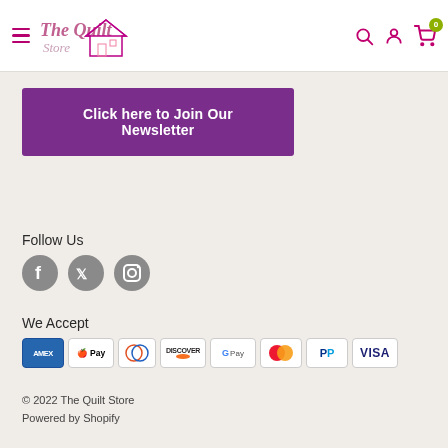The Quilt Store — navigation header with hamburger menu, logo, search, account, cart (0)
Click here to Join Our Newsletter
Follow Us
[Figure (illustration): Social media icons: Facebook, Twitter, Instagram (gray circles)]
We Accept
[Figure (illustration): Payment method icons: American Express, Apple Pay, Diners Club, Discover, Google Pay, Mastercard, PayPal, Visa]
© 2022 The Quilt Store
Powered by Shopify